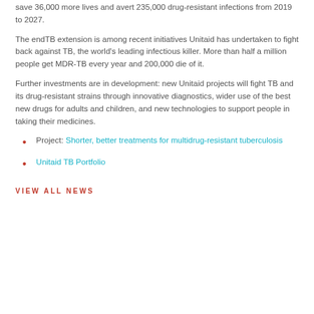save 36,000 more lives and avert 235,000 drug-resistant infections from 2019 to 2027.
The endTB extension is among recent initiatives Unitaid has undertaken to fight back against TB, the world's leading infectious killer. More than half a million people get MDR-TB every year and 200,000 die of it.
Further investments are in development: new Unitaid projects will fight TB and its drug-resistant strains through innovative diagnostics, wider use of the best new drugs for adults and children, and new technologies to support people in taking their medicines.
Project: Shorter, better treatments for multidrug-resistant tuberculosis
Unitaid TB Portfolio
VIEW ALL NEWS